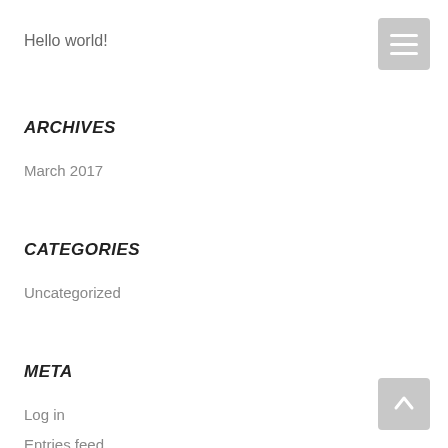Hello world!
ARCHIVES
March 2017
CATEGORIES
Uncategorized
META
Log in
Entries feed